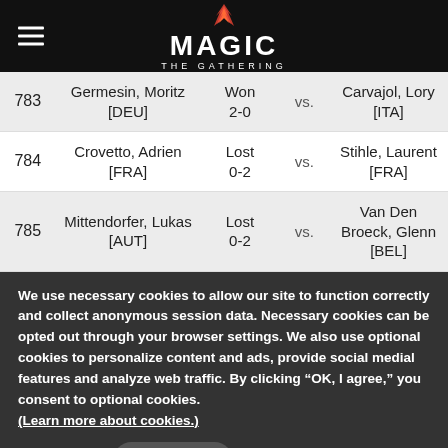Magic: The Gathering
| # | Player | Result | vs. | Opponent |
| --- | --- | --- | --- | --- |
| 783 | Germesin, Moritz [DEU] | Won 2-0 | vs. | Carvajol, Lory [ITA] |
| 784 | Crovetto, Adrien [FRA] | Lost 0-2 | vs. | Stihle, Laurent [FRA] |
| 785 | Mittendorfer, Lukas [AUT] | Lost 0-2 | vs. | Van Den Broeck, Glenn [BEL] |
We use necessary cookies to allow our site to function correctly and collect anonymous session data. Necessary cookies can be opted out through your browser settings. We also use optional cookies to personalize content and ads, provide social medial features and analyze web traffic. By clicking “OK, I agree,” you consent to optional cookies. (Learn more about cookies.)
OK, I agree   No, thanks